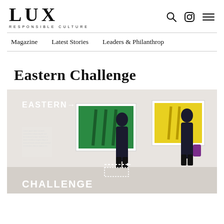LUX RESPONSIBLE CULTURE
Magazine   Latest Stories   Leaders & Philanthrop
Eastern Challenge
[Figure (photo): Two figures in dark suits standing in a white gallery space viewing colorful artworks — a green canvas and a yellow canvas with stripe motifs. Text overlay reads 'EASTERN→' at top and 'CHALLENGE' at bottom.]